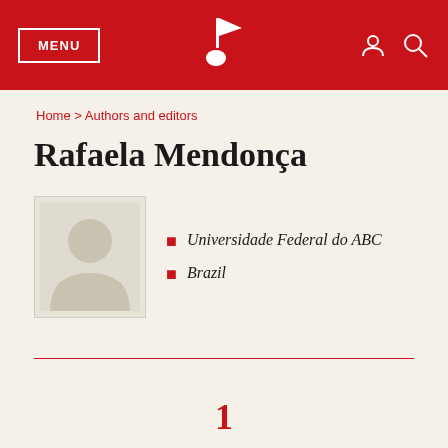MENU | [logo] | [user icon] [search icon]
Home > Authors and editors
Rafaela Mendonça
[Figure (photo): Placeholder author photo box]
Universidade Federal do ABC
Brazil
1